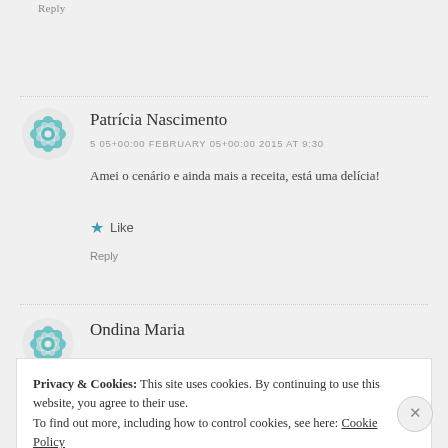Reply
Patrícia Nascimento
5 05+00:00 FEBRUARY 05+00:00 2015 AT 9:30
Amei o cenário e ainda mais a receita, está uma delícia!
Like
Reply
Ondina Maria
Privacy & Cookies: This site uses cookies. By continuing to use this website, you agree to their use.
To find out more, including how to control cookies, see here: Cookie Policy
Close and accept